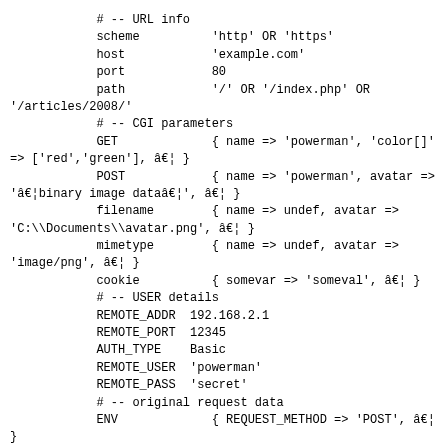# -- URL info
            scheme          'http' OR 'https'
            host            'example.com'
            port            80
            path            '/' OR '/index.php' OR
'/articles/2008/'
            # -- CGI parameters
            GET             { name => 'powerman', 'color[]'
=> ['red','green'], â€¦ }
            POST            { name => 'powerman', avatar =>
'â€¦binary image dataâ€¦', â€¦ }
            filename        { name => undef, avatar =>
'C:\\Documents\\avatar.png', â€¦ }
            mimetype        { name => undef, avatar =>
'image/png', â€¦ }
            cookie          { somevar => 'someval', â€¦ }
            # -- USER details
            REMOTE_ADDR  192.168.2.1
            REMOTE_PORT  12345
            AUTH_TYPE    Basic
            REMOTE_USER  'powerman'
            REMOTE_PASS  'secret'
            # -- original request data
            ENV             { REQUEST_METHOD => 'POST', â€¦
}

        STDIN
'name=powerman&color[]=red&color[]=green'
            # -- request parsing status
            error           '' OR 'POST body too large' etc.